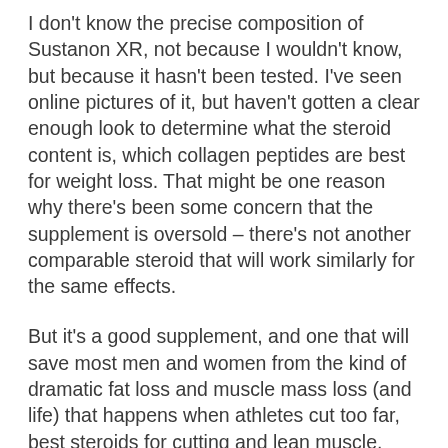I don't know the precise composition of Sustanon XR, not because I wouldn't know, but because it hasn't been tested. I've seen online pictures of it, but haven't gotten a clear enough look to determine what the steroid content is, which collagen peptides are best for weight loss. That might be one reason why there's been some concern that the supplement is oversold – there's not another comparable steroid that will work similarly for the same effects.
But it's a good supplement, and one that will save most men and women from the kind of dramatic fat loss and muscle mass loss (and life) that happens when athletes cut too far, best steroids for cutting and lean muscle.
I've been working with a small group of the very best guys and women in sports, and they've used this supplement to see the benefits most quickly, does vital proteins...